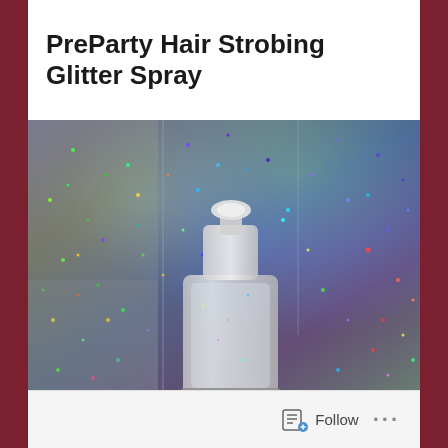PreParty Hair Strobing Glitter Spray
[Figure (photo): A clear plastic spray bottle nozzle/pump top shown against a holographic glitter backdrop with rainbow iridescent foil and multi-colored glitter particles in purples, greens, blues, and golds]
Follow ...